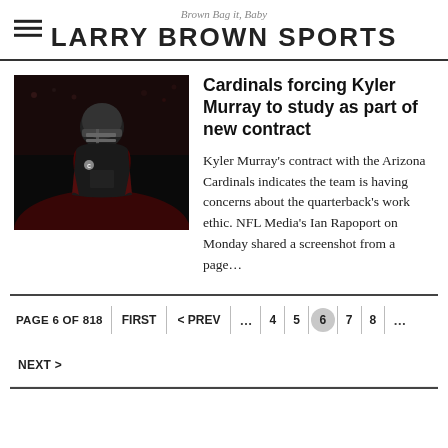Brown Bag it, Baby — LARRY BROWN SPORTS
[Figure (photo): Arizona Cardinals quarterback Kyler Murray in dark uniform on stadium field]
Cardinals forcing Kyler Murray to study as part of new contract
Kyler Murray's contract with the Arizona Cardinals indicates the team is having concerns about the quarterback's work ethic. NFL Media's Ian Rapoport on Monday shared a screenshot from a page…
PAGE 6 OF 818   FIRST   < PREV   ...   4   5   6   7   8   ...   NEXT >